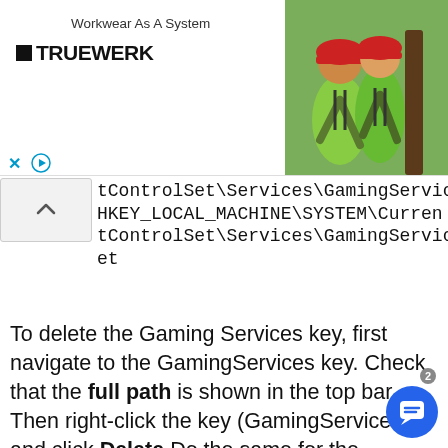[Figure (photo): Advertisement banner for TRUEWERK workwear brand. Left side shows the TRUEWERK logo with tagline 'Workwear As A System'. Right side shows a photo of two workers in bright green workwear and helmets.]
tControlSet\Services\GamingServices HKEY_LOCAL_MACHINE\SYSTEM\CurrentControlSet\Services\GamingServicesNet
To delete the Gaming Services key, first navigate to the GamingServices key. Check that the full path is shown in the top bar. Then right-click the key (GamingServices), and click Delete Do the same for the GamingServicesNet registry key. Again make sure the full path is shown in the top bar. Only then right click